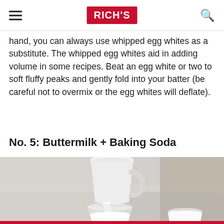RICH'S
hand, you can always use whipped egg whites as a substitute. The whipped egg whites aid in adding volume in some recipes. Beat an egg white or two to soft fluffy peaks and gently fold into your batter (be careful not to overmix or the egg whites will deflate).
No. 5: Buttermilk + Baking Soda
[Figure (photo): A glass pitcher pouring white milk into a glass, with another glass of milk visible, set on a light wooden surface with a soft cloth in the background.]